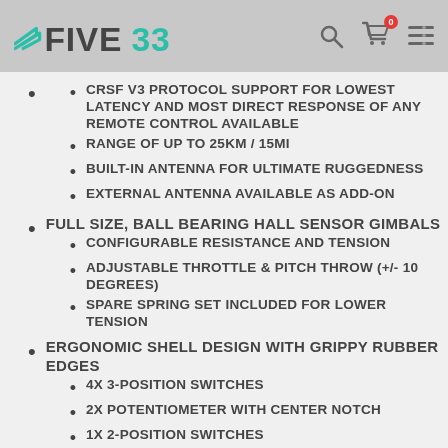FIVE33
CRSF V3 PROTOCOL SUPPORT FOR LOWEST LATENCY AND MOST DIRECT RESPONSE OF ANY REMOTE CONTROL AVAILABLE
RANGE OF UP TO 25KM / 15MI
BUILT-IN ANTENNA FOR ULTIMATE RUGGEDNESS
EXTERNAL ANTENNA AVAILABLE AS ADD-ON
FULL SIZE, BALL BEARING HALL SENSOR GIMBALS
CONFIGURABLE RESISTANCE AND TENSION
ADJUSTABLE THROTTLE & PITCH THROW (+/- 10 DEGREES)
SPARE SPRING SET INCLUDED FOR LOWER TENSION
ERGONOMIC SHELL DESIGN WITH GRIPPY RUBBER EDGES
4X 3-POSITION SWITCHES
2X POTENTIOMETER WITH CENTER NOTCH
1X 2-POSITION SWITCHES